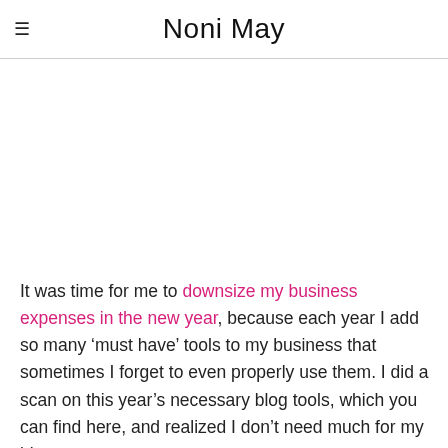Noni May
It was time for me to downsize my business expenses in the new year, because each year I add so many ‘must have’ tools to my business that sometimes I forget to even properly use them. I did a scan on this year’s necessary blog tools, which you can find here, and realized I don’t need much for my blog.